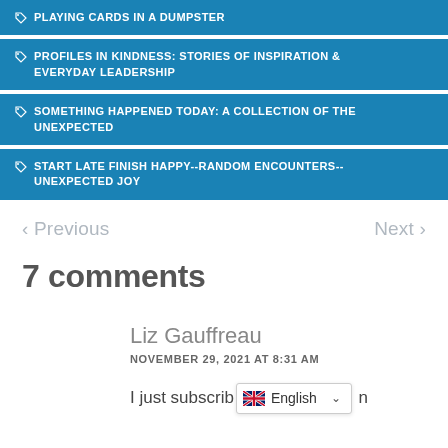🏷 PLAYING CARDS IN A DUMPSTER
🏷 PROFILES IN KINDNESS: STORIES OF INSPIRATION & EVERYDAY LEADERSHIP
🏷 SOMETHING HAPPENED TODAY: A COLLECTION OF THE UNEXPECTED
🏷 START LATE FINISH HAPPY--RANDOM ENCOUNTERS--UNEXPECTED JOY
< Previous    Next >
7 comments
Liz Gauffreau
NOVEMBER 29, 2021 AT 8:31 AM
I just subscrib [English] n